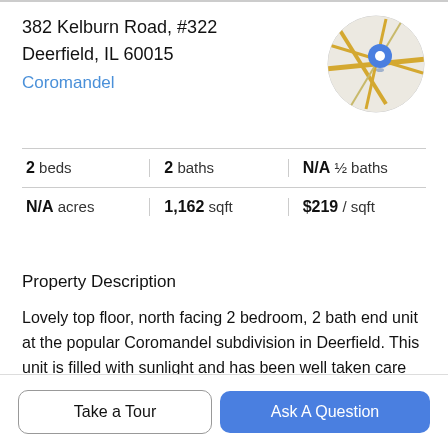382 Kelburn Road, #322
Deerfield, IL 60015
Coromandel
[Figure (map): Circular map thumbnail with a blue location pin marker]
|  |  |  |
| --- | --- | --- |
| 2 beds | 2 baths | N/A ½ baths |
| N/A acres | 1,162 sqft | $219 / sqft |
Property Description
Lovely top floor, north facing 2 bedroom, 2 bath end unit at the popular Coromandel subdivision in Deerfield. This unit is filled with sunlight and has been well taken care of. Eat-in kitchen, primary bedroom suite with a deep walk-in closet, in-unit washer and dryer, elevator in building,
Take a Tour
Ask A Question